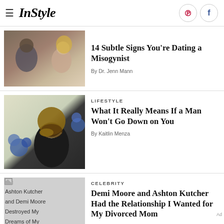InStyle
14 Subtle Signs You're Dating a Misogynist
By Dr. Jenn Mann
LIFESTYLE
What It Really Means If a Man Won't Go Down on You
By Kaitlin Menza
CELEBRITY
Demi Moore and Ashton Kutcher Had the Relationship I Wanted for My Divorced Mom
[Figure (photo): Couple sitting apart, man with head in hands, woman looking away]
[Figure (photo): Heavy-set bearded man in dark outfit thinking, with blue flowers]
[Figure (photo): Ashton Kutcher and Demi Moore - placeholder with alt text]